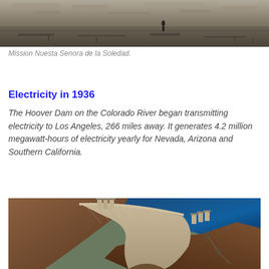[Figure (photo): Black and white historical photo showing a sparse landscape with a lone figure standing in the distance, dry terrain, associated with Mission Nuesta Senora de la Soledad.]
Mission Nuesta Senora de la Soledad.
Electricity in 1936
The Hoover Dam on the Colorado River began transmitting electricity to Los Angeles, 266 miles away. It generates 4.2 million megawatt-hours of electricity yearly for Nevada, Arizona and Southern California.
[Figure (photo): Aerial color photograph of the Hoover Dam on the Colorado River, showing the curved concrete dam structure, intake towers, canyon walls, and the blue reservoir water behind the dam.]